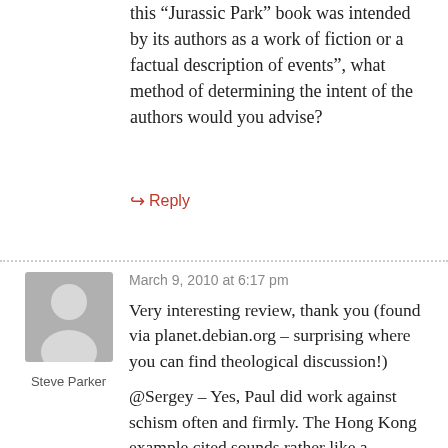this “Jurassic Park” book was intended by its authors as a work of fiction or a factual description of events”, what method of determining the intent of the authors would you advise?
➜ Reply
March 9, 2010 at 6:17 pm
Very interesting review, thank you (found via planet.debian.org – surprising where you can find theological discussion!)
@Sergey – Yes, Paul did work against schism often and firmly. The Hong Kong example cited sounds rather like a “different sides of the same mountain” or “blind men
[Figure (illustration): Gray avatar placeholder icon showing a silhouette of a person]